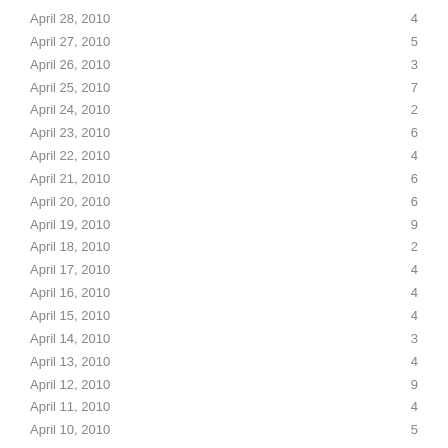| Date | Count |
| --- | --- |
| April 28, 2010 | 4 |
| April 27, 2010 | 5 |
| April 26, 2010 | 3 |
| April 25, 2010 | 7 |
| April 24, 2010 | 2 |
| April 23, 2010 | 6 |
| April 22, 2010 | 4 |
| April 21, 2010 | 6 |
| April 20, 2010 | 6 |
| April 19, 2010 | 9 |
| April 18, 2010 | 2 |
| April 17, 2010 | 4 |
| April 16, 2010 | 4 |
| April 15, 2010 | 4 |
| April 14, 2010 | 3 |
| April 13, 2010 | 4 |
| April 12, 2010 | 9 |
| April 11, 2010 | 4 |
| April 10, 2010 | 5 |
| April 9, 2010 | 5 |
| April 8, 2010 | 8 |
| April 7, 2010 | 8 |
| April 6, 2010 | 9 |